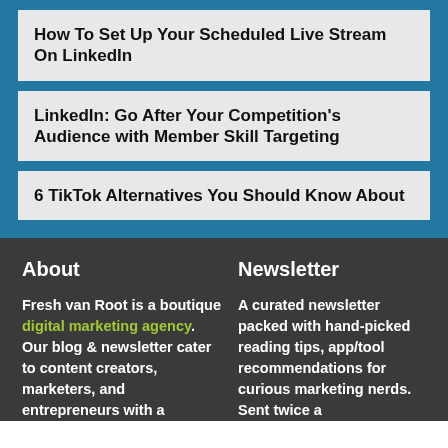How To Set Up Your Scheduled Live Stream On LinkedIn
LinkedIn: Go After Your Competition's Audience with Member Skill Targeting
6 TikTok Alternatives You Should Know About
About
Fresh van Root is a boutique digital marketing agency. Our blog & newsletter cater to content creators, marketers, and entrepreneurs with a
Newsletter
A curated newsletter packed with hand-picked reading tips, app/tool recommendations for curious marketing nerds. Sent twice a